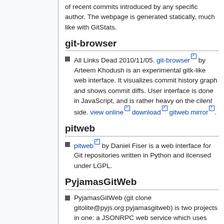of recent commits introduced by any specific author. The webpage is generated statically, much like with GitStats.
git-browser
All Links Dead 2010/11/05. git-browser by Arteem Khodush is an experimental gitk-like web interface. It visualizes commit history graph and shows commit diffs. User interface is done in JavaScript, and is rather heavy on the client side. view online download gitweb mirror.
pitweb
pitweb by Daniel Fiser is a web interface for Git repositories written in Python and licensed under LGPL.
PyjamasGitWeb
PyjamasGitWeb (git clone gitolite@pyjs.org:pyjamasgitweb) is two projects in one: a JSONRPC web service which uses python-git to serve Git repository information, and a matching